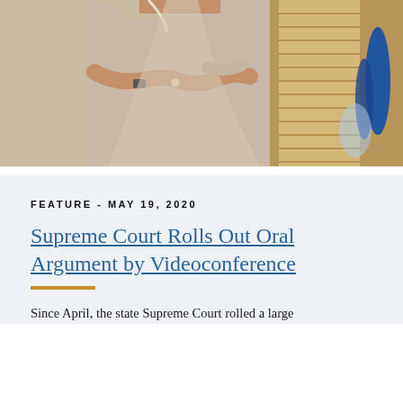[Figure (photo): Woman in light pink/beige outfit with pearl necklace, arms crossed, standing in an office setting with blinds and glassware visible in the background.]
FEATURE - MAY 19, 2020
Supreme Court Rolls Out Oral Argument by Videoconference
Since April, the state Supreme Court rolled a large